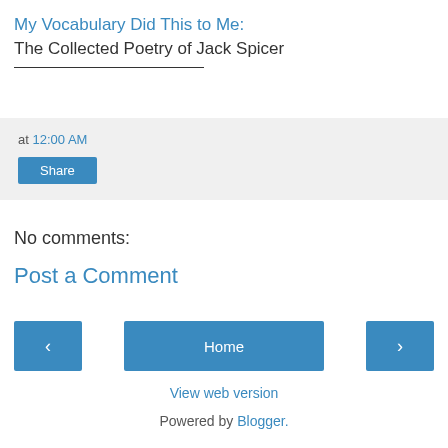My Vocabulary Did This to Me: The Collected Poetry of Jack Spicer
at 12:00 AM
Share
No comments:
Post a Comment
Home
View web version
Powered by Blogger.